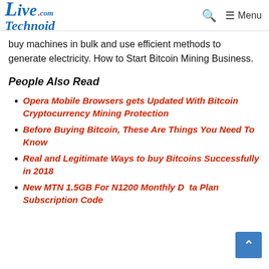LiveTechnoid.com — Menu
buy machines in bulk and use efficient methods to generate electricity. How to Start Bitcoin Mining Business.
People Also Read
Opera Mobile Browsers gets Updated With Bitcoin Cryptocurrency Mining Protection
Before Buying Bitcoin, These Are Things You Need To Know
Real and Legitimate Ways to buy Bitcoins Successfully in 2018
New MTN 1.5GB For N1200 Monthly Data Plan Subscription Code